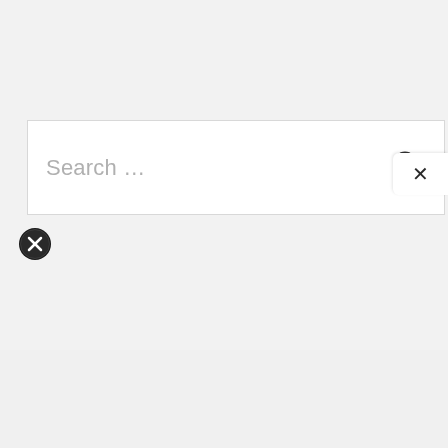[Figure (screenshot): A search bar UI component with placeholder text 'Search ...' and a magnifying glass icon on the right. Below the search bar is a circular close button with an X icon. In the bottom-right corner is a small white popup with an X mark.]